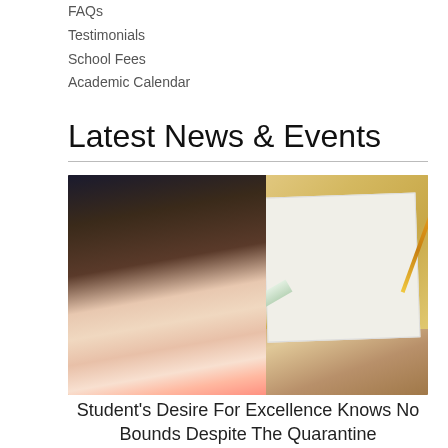FAQs
Testimonials
School Fees
Academic Calendar
Latest News & Events
[Figure (photo): A student sitting at a wooden desk drawing or sketching on white paper using a ruler and marker/pen, with art supplies visible on the desk.]
Student's Desire For Excellence Knows No Bounds Despite The Quarantine
October 20, 2020